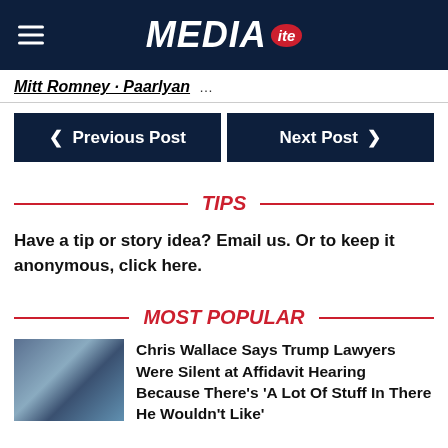MEDIA ITE
Mitt Romney · Paarlyan ...
◄ Previous Post   Next Post ►
TIPS
Have a tip or story idea? Email us. Or to keep it anonymous, click here.
MOST POPULAR
Chris Wallace Says Trump Lawyers Were Silent at Affidavit Hearing Because There's 'A Lot Of Stuff In There He Wouldn't Like'